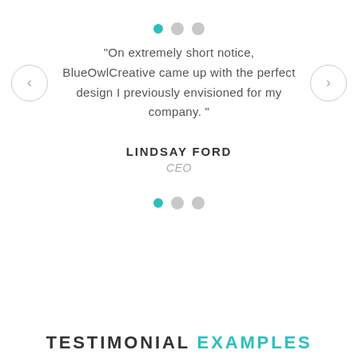[Figure (infographic): Three pagination dots at the top: first is teal/active, second and third are light gray/inactive]
“On extremely short notice, BlueOwlCreative came up with the perfect design I previously envisioned for my company.”
LINDSAY FORD
CEO
[Figure (infographic): Three pagination dots at the bottom: first is teal/active, second and third are light gray/inactive]
TESTIMONIAL EXAMPLES